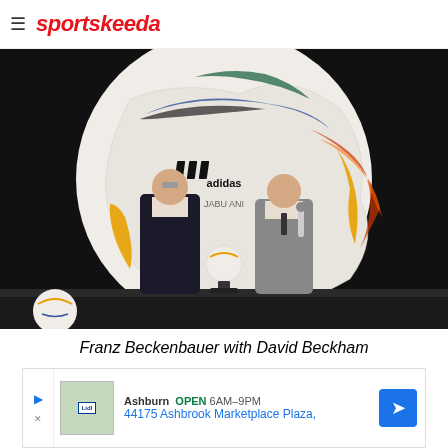sportskeeda
[Figure (photo): Franz Beckenbauer and David Beckham standing in front of a large Adidas Jabulani football. Beckham holds a microphone. A small football sits on a display stand between them.]
Franz Beckenbauer with David Beckham
[Figure (other): Advertisement banner showing Lidl store location: Ashburn OPEN 6AM-9PM, 44175 Ashbrook Marketplace Plaza, with navigation arrow icon]